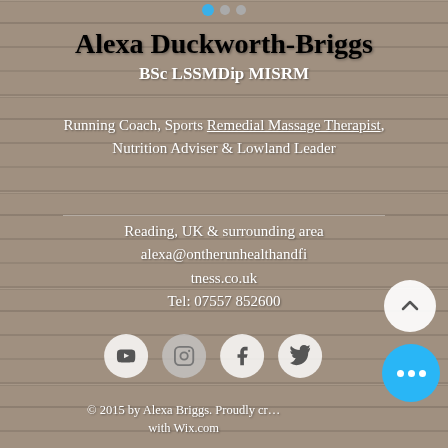Alexa Duckworth-Briggs BSc LSSMDip MISRM
Running Coach, Sports Remedial Massage Therapist, Nutrition Adviser & Lowland Leader
Reading, UK & surrounding area
alexa@ontherunhealthandfitness.co.uk
Tel: 07557 852600
[Figure (infographic): Row of four social media icons: YouTube, Instagram, Facebook, Twitter. All white circle buttons on wood background.]
© 2015 by Alexa Briggs. Proudly created with Wix.com